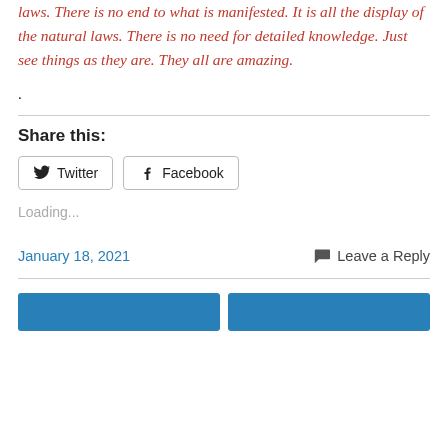laws. There is no end to what is manifested. It is all the display of the natural laws. There is no need for detailed knowledge. Just see things as they are. They all are amazing.
.
Share this:
Twitter  Facebook
Loading...
January 18, 2021   Leave a Reply